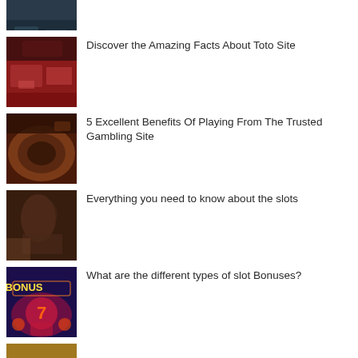[Figure (photo): Partial view of a dark gambling table, cropped at top]
[Figure (photo): Casino cards being dealt on red table]
Discover the Amazing Facts About Toto Site
[Figure (photo): Roulette wheel in motion at a casino]
5 Excellent Benefits Of Playing From The Trusted Gambling Site
[Figure (photo): Woman playing casino slots with golden light]
Everything you need to know about the slots
[Figure (photo): Bonus slot machine graphic with number 7 and colorful lights]
What are the different types of slot Bonuses?
[Figure (photo): Partial image at bottom, golden tones]